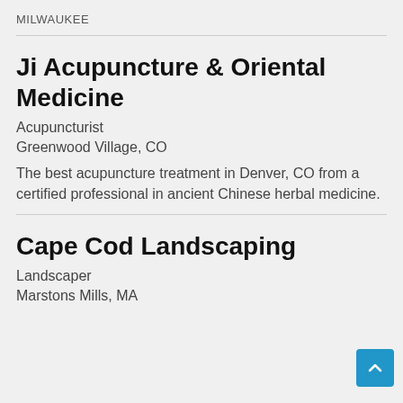MILWAUKEE
Ji Acupuncture & Oriental Medicine
Acupuncturist
Greenwood Village, CO
The best acupuncture treatment in Denver, CO from a certified professional in ancient Chinese herbal medicine.
Cape Cod Landscaping
Landscaper
Marstons Mills, MA